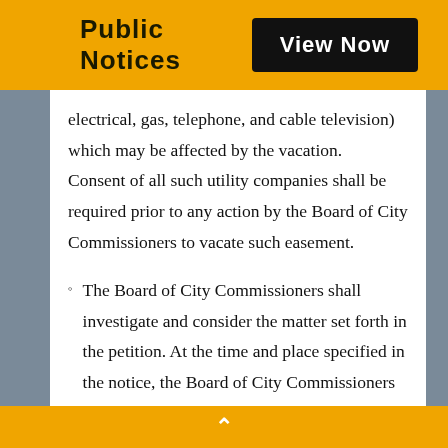Public Notices
electrical, gas, telephone, and cable television) which may be affected by the vacation.  Consent of all such utility companies shall be required prior to any action by the Board of City Commissioners to vacate such easement.
The Board of City Commissioners shall investigate and consider the matter set forth in the petition. At the time and place specified in the notice, the Board of City Commissioners shall her testimony and evidence of the persons interested is such